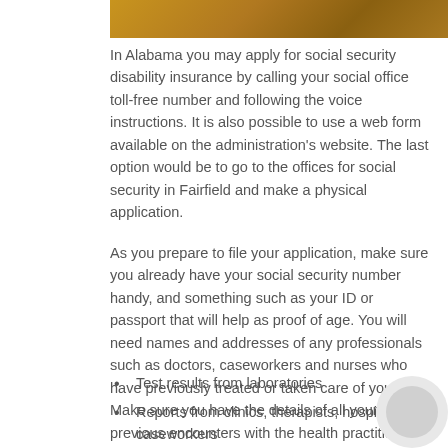[Figure (photo): Partial photo visible at top of page showing papers/documents on a wooden surface]
In Alabama you may apply for social security disability insurance by calling your social office toll-free number and following the voice instructions. It is also possible to use a web form available on the administration's website. The last option would be to go to the offices for social security in Fairfield and make a physical application.
As you prepare to file your application, make sure you already have your social security number handy, and something such as your ID or passport that will help as proof of age. You will need names and addresses of any professionals such as doctors, caseworkers and nurses who have previously treated or taken care of you. Make sure you have the details of all your previous encounters with the health practitioners, especially the dates of visit. Get your medical records; these will include the following.
Test results from laboratories
Reports from clinics, therapists, hospitals or caseworkers